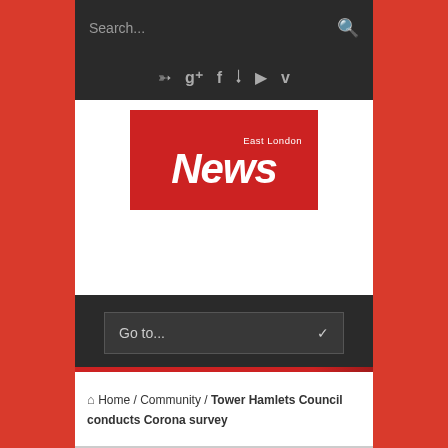Search...
[Figure (logo): East London News logo — white text on red background]
Go to...
Home / Community / Tower Hamlets Council conducts Corona survey